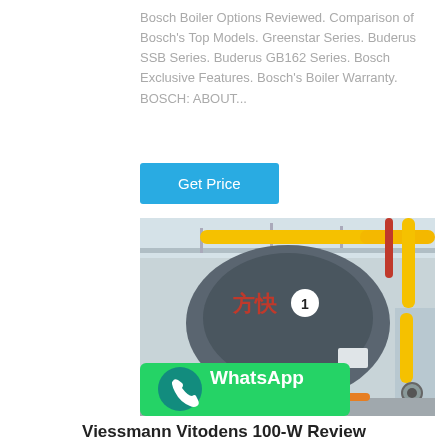Bosch Boiler Options Reviewed. Comparison of Bosch's Top Models. Greenstar Series. Buderus SSB Series. Buderus GB162 Series. Bosch Exclusive Features. Bosch's Boiler Warranty. BOSCH: ABOUT...
[Figure (other): Get Price button (blue rounded rectangle)]
[Figure (photo): Industrial boiler installation photo showing a large cylindrical grey boiler unit with Chinese characters and number 1, yellow gas pipes running across ceiling, red pipe on right side, and a green WhatsApp banner overlaid at the bottom left.]
Viessmann Vitodens 100-W Review